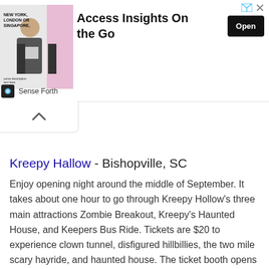[Figure (illustration): Advertisement banner: image of a man in business attire with text 'NEW YORK, LONDON OR SINGAPORE,' on pink/grey background, headline 'Access Insights On the Go', Open button, Sense Forth brand logo]
Kreepy Hallow - Bishopville, SC
Enjoy opening night around the middle of September.  It takes about one hour to go through Kreepy Hollow's three main attractions Zombie Breakout, Kreepy's Haunted House, and Keepers Bus Ride. Tickets are $20 to experience clown tunnel, disfigured hillbillies, the two mile scary hayride, and haunted house. The ticket booth opens at 7 pm. Parking is free and there are two concession stands onsite. Open Friday and Saturday nights in September and Thursday through Sunday nights in